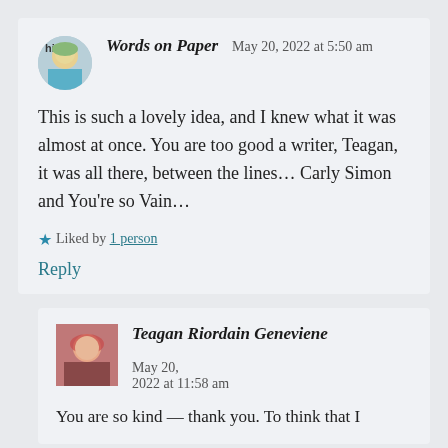Words on Paper   May 20, 2022 at 5:50 am
This is such a lovely idea, and I knew what it was almost at once. You are too good a writer, Teagan, it was all there, between the lines… Carly Simon and You're so Vain…
★ Liked by 1 person
Reply
Teagan Riordain Geneviene   May 20, 2022 at 11:58 am
You are so kind — thank you. To think that I